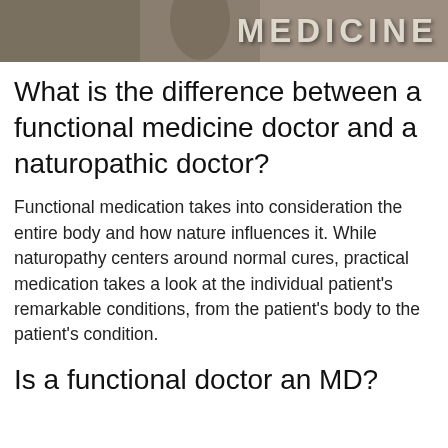[Figure (photo): Banner image with the word MEDICINE in large bold letters over a muted background with a person visible]
What is the difference between a functional medicine doctor and a naturopathic doctor?
Functional medication takes into consideration the entire body and how nature influences it. While naturopathy centers around normal cures, practical medication takes a look at the individual patient’s remarkable conditions, from the patient’s body to the patient’s condition.
Is a functional doctor an MD?